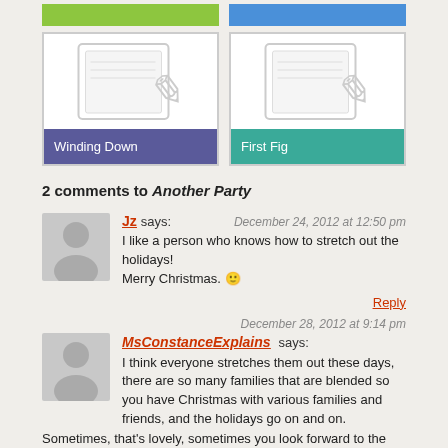[Figure (other): Two colored header cards - green and blue]
[Figure (other): Two book/notebook thumbnail cards: 'Winding Down' with purple label and 'First Fig' with teal label, each showing a notebook icon]
2 comments to Another Party
Jz says: December 24, 2012 at 12:50 pm
I like a person who knows how to stretch out the holidays!
Merry Christmas. 🙂
Reply
MsConstanceExplains says: December 28, 2012 at 9:14 pm
I think everyone stretches them out these days, there are so many families that are blended so you have Christmas with various families and friends, and the holidays go on and on. Sometimes, that's lovely, sometimes you look forward to the end with a certain relief, too.